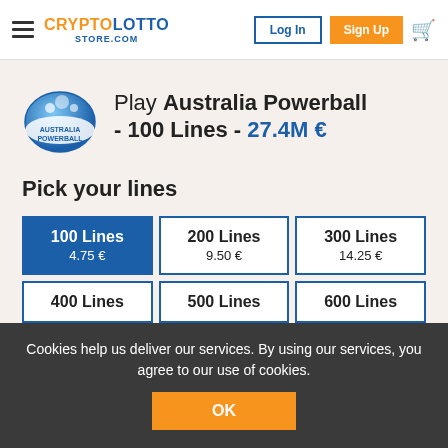CRYPTOLOTTOSTORE.COM — Log In | Sign Up
Play Australia Powerball - 100 Lines - 27.4M €
Pick your lines
| Lines | Price |
| --- | --- |
| 100 Lines | 4.75 € |
| 200 Lines | 9.50 € |
| 300 Lines | 14.25 € |
| 400 Lines |  |
| 500 Lines |  |
| 600 Lines |  |
Cookies help us deliver our services. By using our services, you agree to our use of cookies.
OK